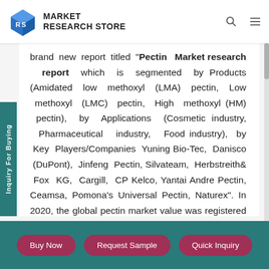MARKET RESEARCH STORE
brand new report titled "Pectin Market research report which is segmented by Products (Amidated low methoxyl (LMA) pectin, Low methoxyl (LMC) pectin, High methoxyl (HM) pectin), by Applications (Cosmetic industry, Pharmaceutical industry, Food industry), by Key Players/Companies Yuning Bio-Tec, Danisco (DuPont), Jinfeng Pectin, Silvateam, Herbstreith& Fox KG, Cargill, CP Kelco, Yantai Andre Pectin, Ceamsa, Pomona's Universal Pectin, Naturex". In 2020, the global pectin market value was registered at XX (USD
Buy Now | Request Sample | Quick Inquiry